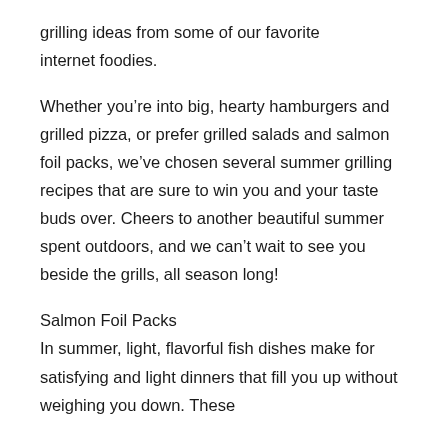grilling ideas from some of our favorite internet foodies.
Whether you’re into big, hearty hamburgers and grilled pizza, or prefer grilled salads and salmon foil packs, we’ve chosen several summer grilling recipes that are sure to win you and your taste buds over. Cheers to another beautiful summer spent outdoors, and we can’t wait to see you beside the grills, all season long!
Salmon Foil Packs
In summer, light, flavorful fish dishes make for satisfying and light dinners that fill you up without weighing you down. These